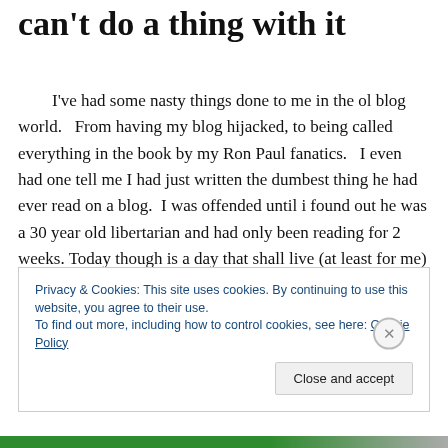can't do a thing with it
I've had some nasty things done to me in the ol blog world.   From having my blog hijacked, to being called everything in the book by my Ron Paul fanatics.   I even had one tell me I had just written the dumbest thing he had ever read on a blog.  I was offended until i found out he was a 30 year old libertarian and had only been reading for 2 weeks. Today though is a day that shall live (at least for me) in infamy.
Privacy & Cookies: This site uses cookies. By continuing to use this website, you agree to their use.
To find out more, including how to control cookies, see here: Cookie Policy
Close and accept